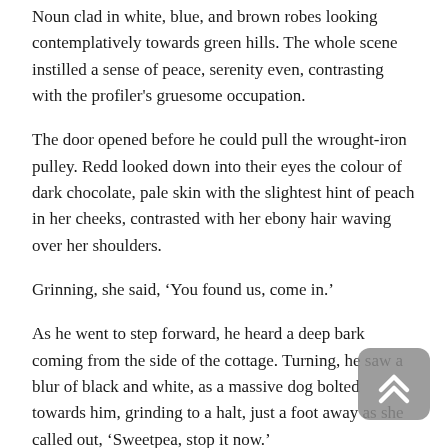Noun clad in white, blue, and brown robes looking contemplatively towards green hills. The whole scene instilled a sense of peace, serenity even, contrasting with the profiler's gruesome occupation.
The door opened before he could pull the wrought-iron pulley. Redd looked down into their eyes the colour of dark chocolate, pale skin with the slightest hint of peach in her cheeks, contrasted with her ebony hair waving over her shoulders.
Grinning, she said, 'You found us, come in.'
As he went to step forward, he heard a deep bark coming from the side of the cottage. Turning, he saw a blur of black and white, as a massive dog bolted towards him, grinding to a halt, just a foot away as she called out, 'Sweetpea, stop it now.'
'Sweetpea? The dog's name was…' Turning, he had…